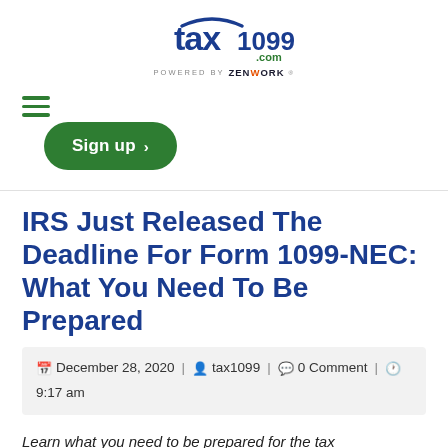[Figure (logo): tax1099.com logo with 'POWERED BY ZENWORK' tagline]
[Figure (other): Hamburger/menu icon (three green horizontal lines)]
[Figure (other): Green Sign up button with right arrow]
IRS Just Released The Deadline For Form 1099-NEC: What You Need To Be Prepared
December 28, 2020 | tax1099 | 0 Comment | 9:17 am
Learn what you need to be prepared for the tax